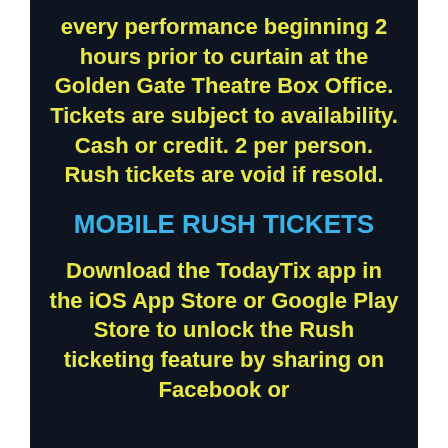every performance beginning 2 hours prior to curtain at the Golden Gate Theatre Box Office. Tickets are subject to availability. Cash or credit. 2 per person. Rush tickets are void if resold.
MOBILE RUSH TICKETS
Download the TodayTix app in the iOS App Store or Google Play Store to unlock the Rush ticketing feature by sharing on Facebook or